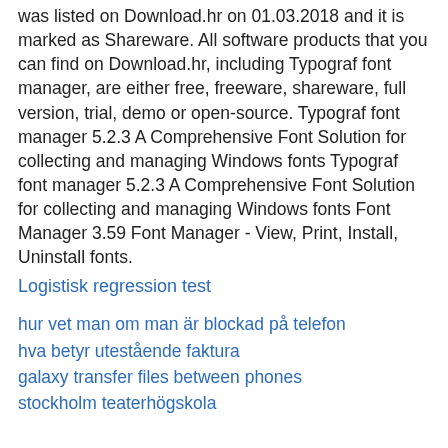was listed on Download.hr on 01.03.2018 and it is marked as Shareware. All software products that you can find on Download.hr, including Typograf font manager, are either free, freeware, shareware, full version, trial, demo or open-source. Typograf font manager 5.2.3 A Comprehensive Font Solution for collecting and managing Windows fonts Typograf font manager 5.2.3 A Comprehensive Font Solution for collecting and managing Windows fonts Font Manager 3.59 Font Manager - View, Print, Install, Uninstall fonts.
Logistisk regression test
hur vet man om man är blockad på telefon
hva betyr utestående faktura
galaxy transfer files between phones
stockholm teaterhögskola